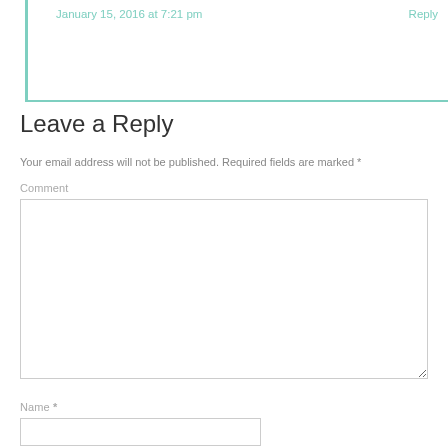January 15, 2016 at 7:21 pm
Reply
Leave a Reply
Your email address will not be published. Required fields are marked *
Comment
Name *
Email *